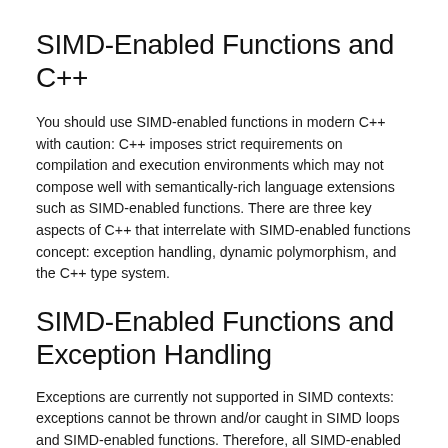SIMD-Enabled Functions and C++
You should use SIMD-enabled functions in modern C++ with caution: C++ imposes strict requirements on compilation and execution environments which may not compose well with semantically-rich language extensions such as SIMD-enabled functions. There are three key aspects of C++ that interrelate with SIMD-enabled functions concept: exception handling, dynamic polymorphism, and the C++ type system.
SIMD-Enabled Functions and Exception Handling
Exceptions are currently not supported in SIMD contexts: exceptions cannot be thrown and/or caught in SIMD loops and SIMD-enabled functions. Therefore, all SIMD-enabled functions are considered noexcept in C++11 terms. This affects not only short vector